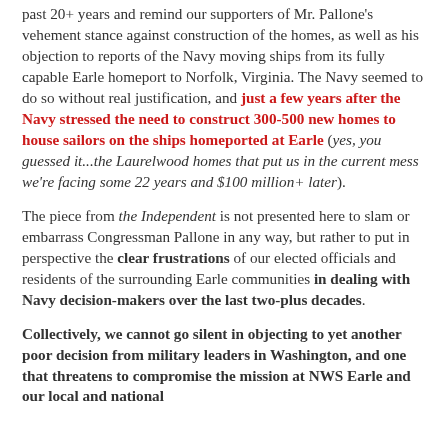past 20+ years and remind our supporters of Mr. Pallone's vehement stance against construction of the homes, as well as his objection to reports of the Navy moving ships from its fully capable Earle homeport to Norfolk, Virginia. The Navy seemed to do so without real justification, and just a few years after the Navy stressed the need to construct 300-500 new homes to house sailors on the ships homeported at Earle (yes, you guessed it...the Laurelwood homes that put us in the current mess we're facing some 22 years and $100 million+ later).
The piece from the Independent is not presented here to slam or embarrass Congressman Pallone in any way, but rather to put in perspective the clear frustrations of our elected officials and residents of the surrounding Earle communities in dealing with Navy decision-makers over the last two-plus decades.
Collectively, we cannot go silent in objecting to yet another poor decision from military leaders in Washington, and one that threatens to compromise the mission at NWS Earle and our local and national